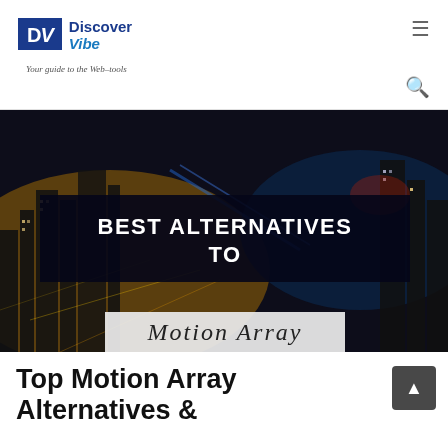Discover Vibe — Your guide to the Web-tools
[Figure (illustration): Hero banner image of a city skyline at night with blurred lights, overlaid with a dark semi-transparent box containing text 'BEST ALTERNATIVES TO' and a Motion Array logo strip below.]
Top Motion Array Alternatives &